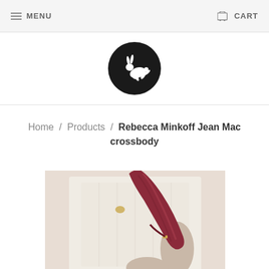MENU    CART
[Figure (logo): Black circle logo with white leaping rabbit/hare silhouette]
Home / Products / Rebecca Minkoff Jean Mac crossbody
[Figure (photo): Person wearing a cream cable-knit sweater holding a red/burgundy elongated crossbody bag with gold hardware]